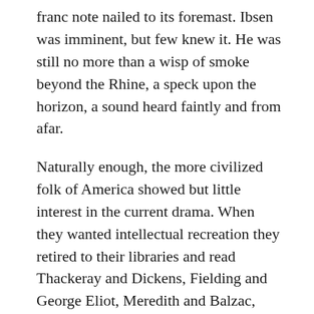franc note nailed to its foremast. Ibsen was imminent, but few knew it. He was still no more than a wisp of smoke beyond the Rhine, a speck upon the horizon, a sound heard faintly and from afar.
Naturally enough, the more civilized folk of America showed but little interest in the current drama. When they wanted intellectual recreation they retired to their libraries and read Thackeray and Dickens, Fielding and George Eliot, Meredith and Balzac, perhaps even Tennyson and Swinburne. Save when the classics